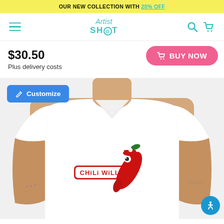OUR NEW COLLECTION WITH 20% OFF
[Figure (logo): ArtistShot logo with hamburger menu, search and cart icons]
$30.50
Plus delivery costs
BUY NOW
Customize
[Figure (photo): Man wearing white v-neck t-shirt with Chili Willy cartoon chili pepper graphic]